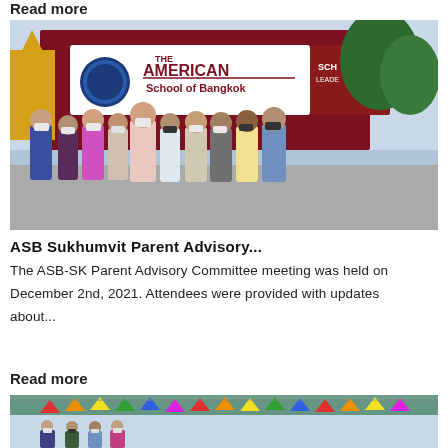Read more
[Figure (photo): Group of people wearing masks and hard hats standing in front of The American School of Bangkok sign]
ASB Sukhumvit Parent Advisory...
The ASB-SK Parent Advisory Committee meeting was held on December 2nd, 2021. Attendees were provided with updates about...
Read more
[Figure (photo): People with colorful pennant flags strung across a building exterior]